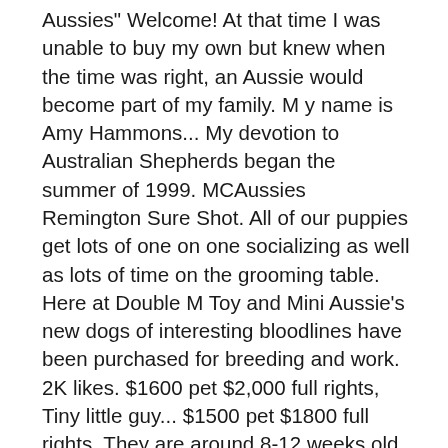Aussies" Welcome! At that time I was unable to buy my own but knew when the time was right, an Aussie would become part of my family. M y name is Amy Hammons... My devotion to Australian Shepherds began the summer of 1999. MCAussies Remington Sure Shot. All of our puppies get lots of one on one socializing as well as lots of time on the grooming table. Here at Double M Toy and Mini Aussie's new dogs of interesting bloodlines have been purchased for breeding and work. 2K likes. $1600 pet $2,000 full rights, Tiny little guy... $1500 pet $1800 full rights. They are around 8-12 weeks old. Learn more about Diamond M Toy & Mini Aussies in Arkansas. We also show our dogs at American Stock Dog shows and all breed shows as well. View on facebook. Grand elite ch parents. Diamond M Farms Toy & Mini Aussies, Crockett,